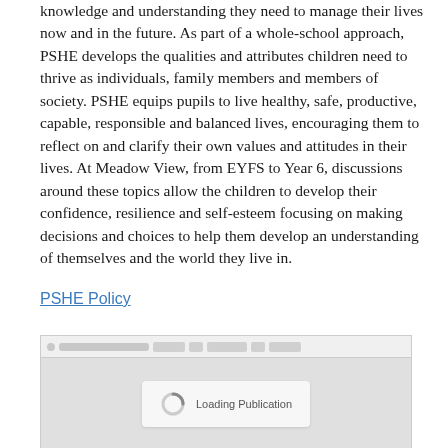knowledge and understanding they need to manage their lives now and in the future. As part of a whole-school approach, PSHE develops the qualities and attributes children need to thrive as individuals, family members and members of society. PSHE equips pupils to live healthy, safe, productive, capable, responsible and balanced lives, encouraging them to reflect on and clarify their own values and attitudes in their lives. At Meadow View, from EYFS to Year 6, discussions around these topics allow the children to develop their confidence, resilience and self-esteem focusing on making decisions and choices to help them develop an understanding of themselves and the world they live in.
PSHE Policy
[Figure (screenshot): A loading publication widget with a toolbar at the top showing a search bar and navigation buttons, and a centered loading spinner with the text 'Loading Publication' on a light grey background.]